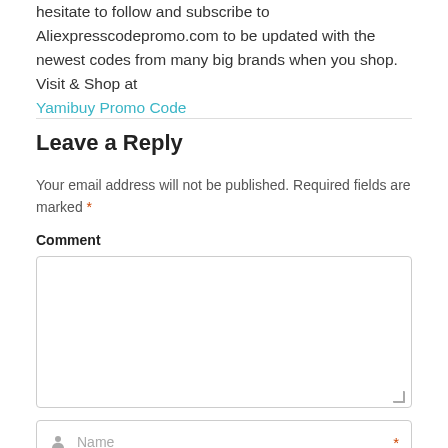hesitate to follow and subscribe to Aliexpresscodepromo.com to be updated with the newest codes from many big brands when you shop. Visit & Shop at Yamibuy Promo Code
Leave a Reply
Your email address will not be published. Required fields are marked *
Comment
[Figure (other): Comment text area input field]
[Figure (other): Name input field with person icon and asterisk]
[Figure (other): Email input field with envelope icon and asterisk]